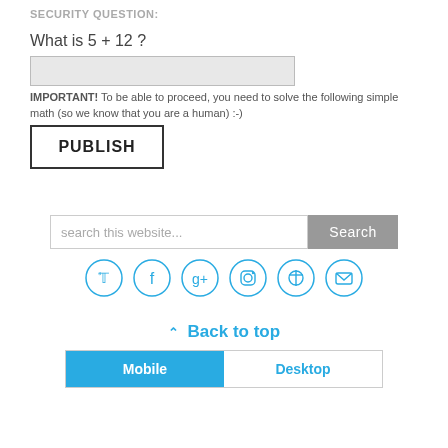SECURITY QUESTION:
What is 5 + 12 ?
IMPORTANT! To be able to proceed, you need to solve the following simple math (so we know that you are a human) :-)
PUBLISH
search this website...
[Figure (infographic): Social media icons in circles: Twitter, Facebook, Google+, Instagram, Pinterest, Email]
^ Back to top
Mobile  Desktop